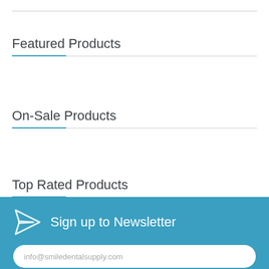Featured Products
On-Sale Products
Top Rated Products
Sign up to Newsletter
info@smiledentalsupply.com